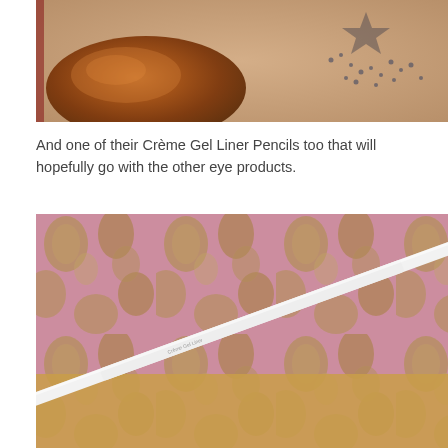[Figure (photo): Close-up photo of an orange/copper shimmer eyeshadow swatch on pale skin with a tattoo visible in the upper right corner]
And one of their Crème Gel Liner Pencils too that will hopefully go with the other eye products.
[Figure (photo): Photo of a white eyeliner pencil with a dark brown tip lying diagonally on a pink and gold floral patterned background]